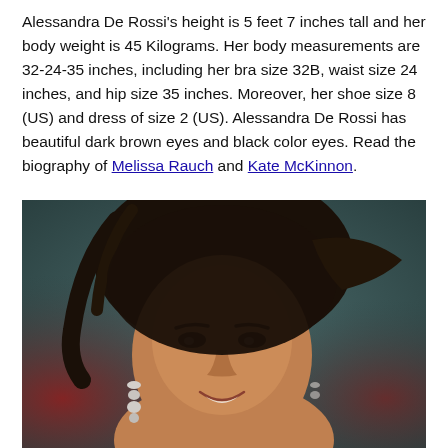Alessandra De Rossi's height is 5 feet 7 inches tall and her body weight is 45 Kilograms. Her body measurements are 32-24-35 inches, including her bra size 32B, waist size 24 inches, and hip size 35 inches. Moreover, her shoe size 8 (US) and dress of size 2 (US). Alessandra De Rossi has beautiful dark brown eyes and black color eyes. Read the biography of Melissa Rauch and Kate McKinnon.
[Figure (photo): Portrait photo of Alessandra De Rossi, a woman with dark hair pulled back, smiling, wearing dangling earrings, against a blurred dark red and grey background.]